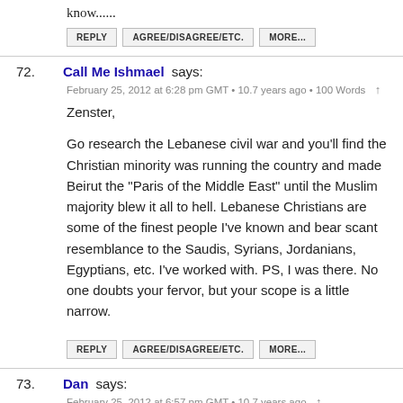know......
REPLY   AGREE/DISAGREE/ETC.   MORE...
72. Call Me Ishmael says:
February 25, 2012 at 6:28 pm GMT • 10.7 years ago • 100 Words ↑

Zenster,

Go research the Lebanese civil war and you'll find the Christian minority was running the country and made Beirut the "Paris of the Middle East" until the Muslim majority blew it all to hell. Lebanese Christians are some of the finest people I've known and bear scant resemblance to the Saudis, Syrians, Jordanians, Egyptians, etc. I've worked with. PS, I was there. No one doubts your fervor, but your scope is a little narrow.
REPLY   AGREE/DISAGREE/ETC.   MORE...
73. Dan says:
February 25, 2012 at 6:57 pm GMT • 10.7 years ago ↑